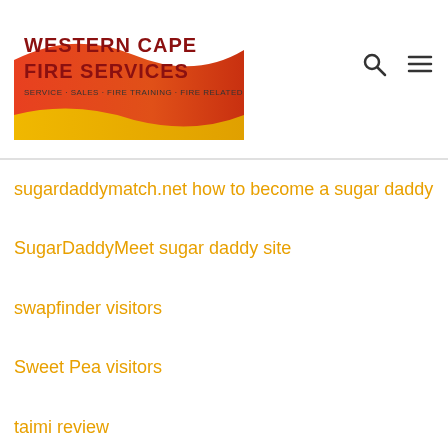Western Cape Fire Services — SERVICE · SALES · FIRE TRAINING · FIRE RELATED SIGNS
sugardaddymatch.net how to become a sugar daddy
SugarDaddyMeet sugar daddy site
swapfinder visitors
Sweet Pea visitors
taimi review
tantan fr review
Tastebuds kosten